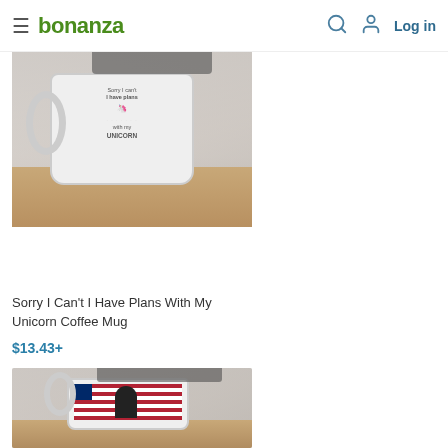bonanza — Log in
[Figure (photo): Product photo of a white coffee mug with unicorn design reading 'Sorry I Can't I Have Plans With My Unicorn', placed on a wooden surface in a kitchen setting.]
Sorry I Can't I Have Plans With My Unicorn Coffee Mug
$13.43+
[Figure (photo): Product photo of a white coffee mug with a Trump/American flag design, placed on a wooden surface in a kitchen setting.]